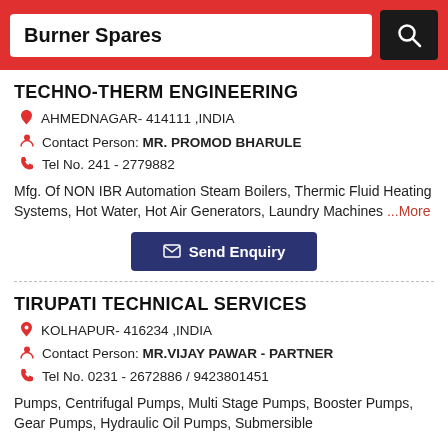Burner Spares
TECHNO-THERM ENGINEERING
AHMEDNAGAR- 414111 ,INDIA
Contact Person: MR. PROMOD BHARULE
Tel No. 241 - 2779882
Mfg. Of NON IBR Automation Steam Boilers, Thermic Fluid Heating Systems, Hot Water, Hot Air Generators, Laundry Machines ...More
Send Enquiry
TIRUPATI TECHNICAL SERVICES
KOLHAPUR- 416234 ,INDIA
Contact Person: MR.VIJAY PAWAR - PARTNER
Tel No. 0231 - 2672886 / 9423801451
Pumps, Centrifugal Pumps, Multi Stage Pumps, Booster Pumps, Gear Pumps, Hydraulic Oil Pumps, Submersible...